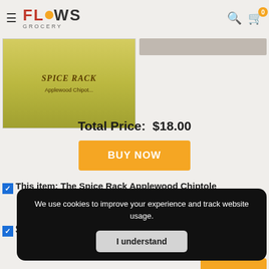FLOWS GROCERY
[Figure (photo): Product photo of The Spice Rack Applewood Chipotle spice jar, partially visible with label showing 'SPICE RACK Applewood Chipot...']
Total Price:  $18.00
BUY NOW
This item: The Spice Rack Applewood Chiptole
$1...
We use cookies to improve your experience and track website usage.
I understand